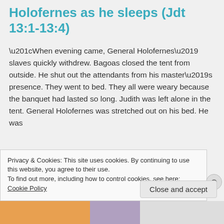Holofernes as he sleeps (Jdt 13:1-13:4)
“When evening came, General Holofernes’ slaves quickly withdrew. Bagoas closed the tent from outside. He shut out the attendants from his master’s presence. They went to bed. They all were weary because the banquet had lasted so long. Judith was left alone in the tent. General Holofernes was stretched out on his bed. He was
Privacy & Cookies: This site uses cookies. By continuing to use this website, you agree to their use.
To find out more, including how to control cookies, see here: Cookie Policy